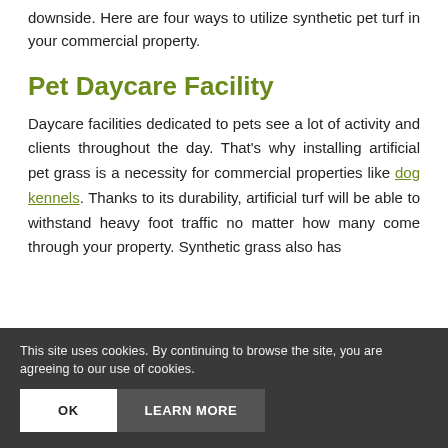downside. Here are four ways to utilize synthetic pet turf in your commercial property.
Pet Daycare Facility
Daycare facilities dedicated to pets see a lot of activity and clients throughout the day. That's why installing artificial pet grass is a necessity for commercial properties like dog kennels. Thanks to its durability, artificial turf will be able to withstand heavy foot traffic no matter how many come through your property. Synthetic grass also has
This site uses cookies. By continuing to browse the site, you are agreeing to our use of cookies.